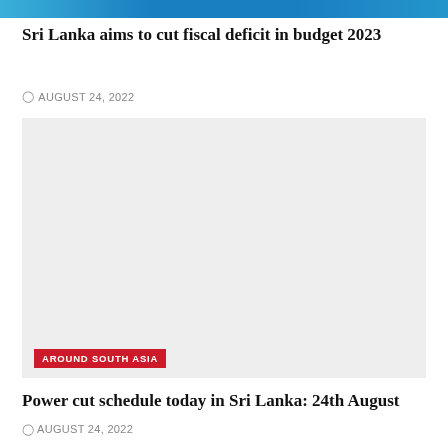[Figure (photo): Top banner image strip — partial blue/teal colored photo visible at top of page]
Sri Lanka aims to cut fiscal deficit in budget 2023
AUGUST 24, 2022
[Figure (photo): Large light grey placeholder image block with 'AROUND SOUTH ASIA' red category badge overlaid at bottom left]
AROUND SOUTH ASIA
Power cut schedule today in Sri Lanka: 24th August
AUGUST 24, 2022